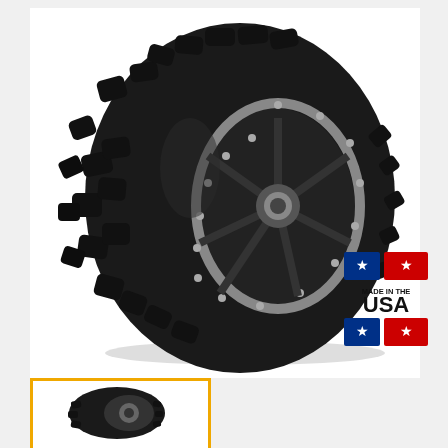[Figure (photo): Large off-road ATV/UTV tire mounted on a black and silver beadlock wheel, shown on a white background. The tire features aggressive knobby tread pattern.]
[Figure (logo): Made in the USA badge with blue and red rectangles and stars, with text 'MADE IN THE USA' in black.]
[Figure (photo): Thumbnail image of the same off-road tire, shown in smaller size with a yellow/gold border frame.]